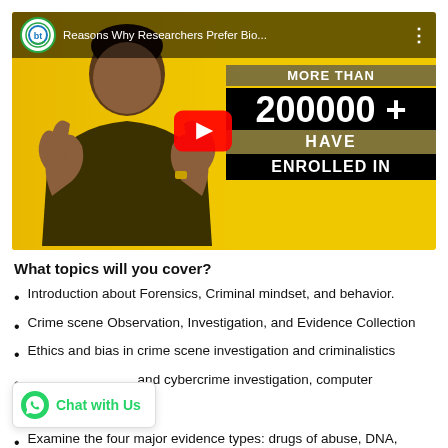[Figure (screenshot): YouTube video thumbnail showing a man gesturing on a yellow background with text 'MORE THAN 200000+ HAVE ENROLLED IN' and BioTecnika channel logo and title 'Reasons Why Researchers Prefer Bio...']
What topics will you cover?
Introduction about Forensics, Criminal mindset, and behavior.
Crime scene Observation, Investigation, and Evidence Collection
Ethics and bias in crime scene investigation and criminalistics
and cybercrime investigation, computer
Examine the four major evidence types: drugs of abuse, DNA,